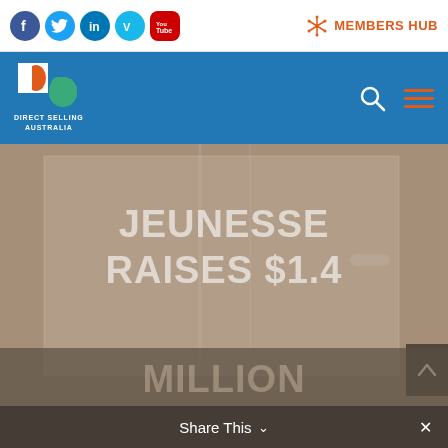Social icons: Facebook, Twitter, LinkedIn, Vimeo, YouTube | MEMBERS HUB
[Figure (logo): Direct Selling Australia logo with colored S shapes and text]
[Figure (screenshot): Hero background image of a door/wall with tan/beige tones. Large white semi-transparent text reads: JEUNESSE RAISES $1.4 MILLION (partially visible)]
Share This ∨   ✕